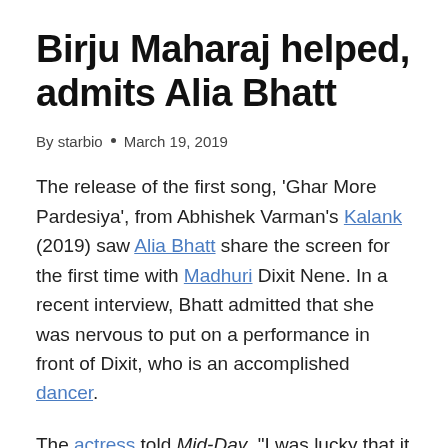Birju Maharaj helped, admits Alia Bhatt
By starbio • March 19, 2019
The release of the first song, 'Ghar More Pardesiya', from Abhishek Varman's Kalank (2019) saw Alia Bhatt share the screen for the first time with Madhuri Dixit Nene. In a recent interview, Bhatt admitted that she was nervous to put on a performance in front of Dixit, who is an accomplished dancer.
The actress told Mid-Day, "I was lucky that it wasn't a dance-off. Madhuri ma'am could sense